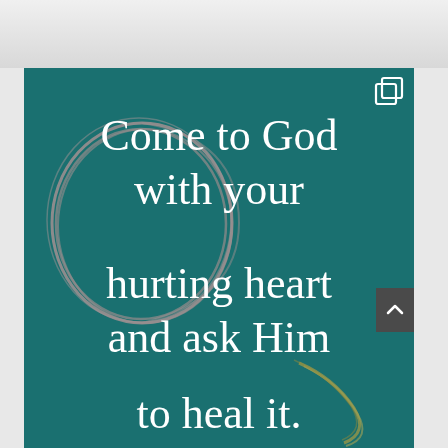[Figure (illustration): Teal/dark green inspirational quote card with decorative circular brushstroke in mauve/pink on the left side and a gold/olive crescent brushstroke in lower right. White serif text reads: 'Come to God with your hurting heart and ask Him to heal it.' A copy icon appears in the top right corner. A dark scroll-up button is on the right edge.]